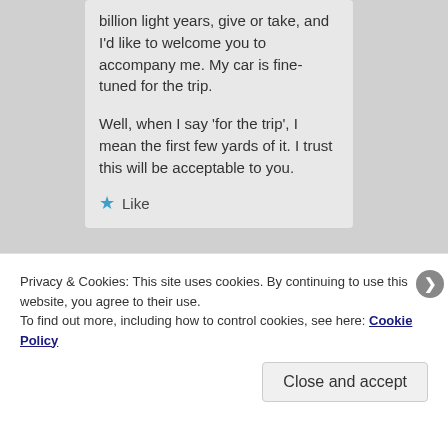billion light years, give or take, and I'd like to welcome you to accompany me. My car is fine-tuned for the trip.

Well, when I say 'for the trip', I mean the first few yards of it. I trust this will be acceptable to you.
★ Like
Privacy & Cookies: This site uses cookies. By continuing to use this website, you agree to their use.
To find out more, including how to control cookies, see here: Cookie Policy
Close and accept